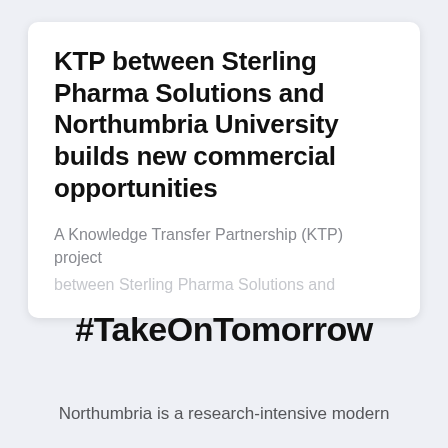KTP between Sterling Pharma Solutions and Northumbria University builds new commercial opportunities
A Knowledge Transfer Partnership (KTP) project
#TakeOnTomorrow
Northumbria is a research-intensive modern